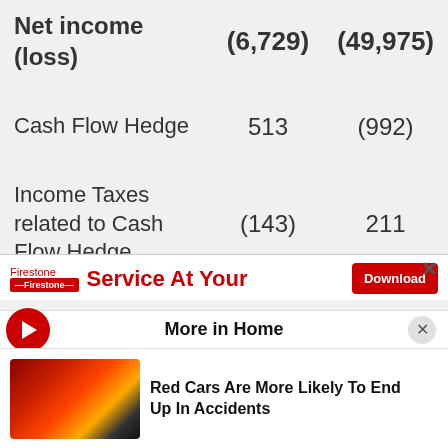|  | Col1 | Col2 |
| --- | --- | --- |
| Net income (loss) | (6,729) | (49,975) |
| Cash Flow Hedge | 513 | (992) |
| Income Taxes related to Cash Flow Hedge | (143) | 211 |
| Foreign currency | 3,520 |  |
[Figure (screenshot): Firestone advertisement banner with 'Service At Your' text and Download button]
More in Home
Red Cars Are More Likely To End Up In Accidents